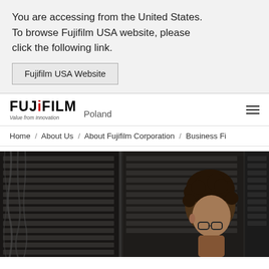You are accessing from the United States. To browse Fujifilm USA website, please click the following link.
Fujifilm USA Website
[Figure (logo): Fujifilm logo with tagline 'Value from Innovation' and 'Poland' country label, plus hamburger menu icon]
Home / About Us / About Fujifilm Corporation / Business Fi
[Figure (photo): Data center server racks with a person with curly hair and glasses looking at equipment]
Select Your Location